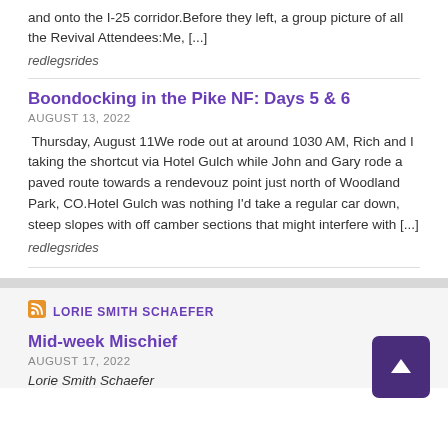and onto the I-25 corridor.Before they left, a group picture of all the Revival Attendees:Me, [...]
redlegsrides
Boondocking in the Pike NF: Days 5 & 6
AUGUST 13, 2022
Thursday, August 11We rode out at around 1030 AM, Rich and I taking the shortcut via Hotel Gulch while John and Gary rode a paved route towards a rendevouz point just north of Woodland Park, CO.Hotel Gulch was nothing I'd take a regular car down, steep slopes with off camber sections that might interfere with [...]
redlegsrides
LORIE SMITH SCHAEFER
Mid-week Mischief
AUGUST 17, 2022
Lorie Smith Schaefer